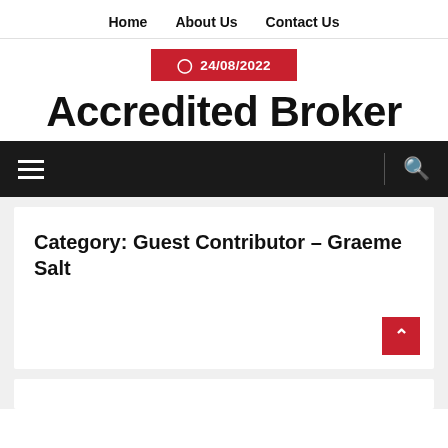Home   About Us   Contact Us
24/08/2022
Accredited Broker
[Figure (screenshot): Black navigation bar with hamburger menu icon on left, vertical divider line, and search (magnifying glass) icon on right]
Category: Guest Contributor – Graeme Salt